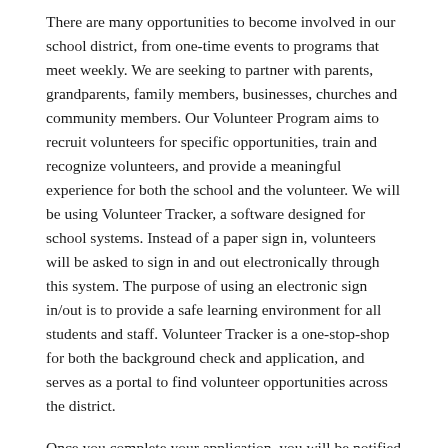There are many opportunities to become involved in our school district, from one-time events to programs that meet weekly. We are seeking to partner with parents, grandparents, family members, businesses, churches and community members. Our Volunteer Program aims to recruit volunteers for specific opportunities, train and recognize volunteers, and provide a meaningful experience for both the school and the volunteer. We will be using Volunteer Tracker, a software designed for school systems. Instead of a paper sign in, volunteers will be asked to sign in and out electronically through this system. The purpose of using an electronic sign in/out is to provide a safe learning environment for all students and staff. Volunteer Tracker is a one-stop-shop for both the background check and application, and serves as a portal to find volunteer opportunities across the district.
Once you complete your application, you will be notified by email of any volunteer opportunities that match your interests. These emails will come directly from Volunteer Tracker.